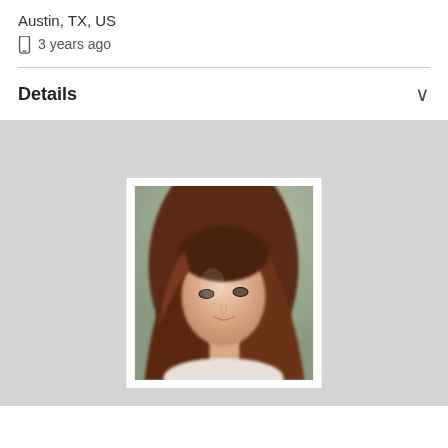Austin, TX, US
📱 3 years ago
Details
[Figure (photo): Portrait photo of a young woman with long dark reddish-brown hair, slight smile, soft focus, white border frame, on a light gray background.]